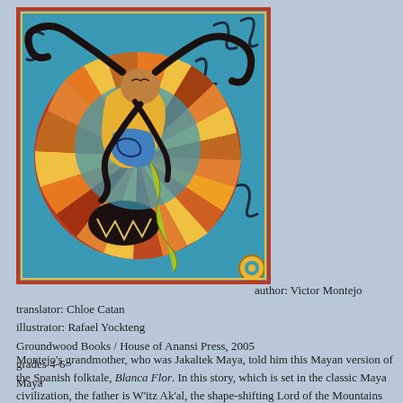[Figure (illustration): Book cover illustration: colorful Maya-style artwork featuring a figure with flowing black hair set inside a circular sun-like design with orange/red/yellow radiating segments, on a teal/blue background with decorative scrollwork, gold border with ornamental corners.]
author: Victor Montejo
translator: Chloe Catan
illustrator: Rafael Yockteng
Groundwood Books / House of Anansi Press, 2005
grades 4-6
Maya
Montejo's grandmother, who was Jakaltek Maya, told him this Mayan version of the Spanish folktale, Blanca Flor. In this story, which is set in the classic Maya civilization, the father is W'itz Ak'al, the shape-shifting Lord of the Mountains and the Valleys, who rides huge deer and eats the spirits of those who had bargained their hearts for extreme wealth. W'itz Ak'al's